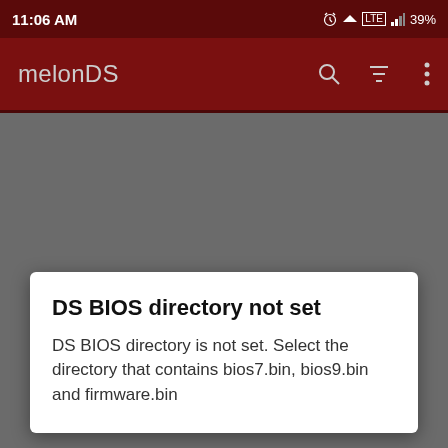11:06 AM   39%
melonDS
DS BIOS directory not set
DS BIOS directory is not set. Select the directory that contains bios7.bin, bios9.bin and firmware.bin